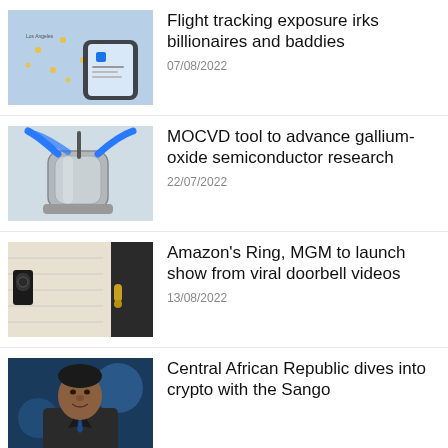[Figure (photo): Hand holding smartphone showing flight tracking map app]
Flight tracking exposure irks billionaires and baddies
07/08/2022
[Figure (photo): MOCVD laboratory equipment with blue tubes and metallic chamber]
MOCVD tool to advance gallium-oxide semiconductor research
22/07/2022
[Figure (photo): Ring doorbell camera mounted next to a door handle]
Amazon's Ring, MGM to launch show from viral doorbell videos
13/08/2022
[Figure (photo): Portrait of African leader in suit with blue background]
Central African Republic dives into crypto with the Sango